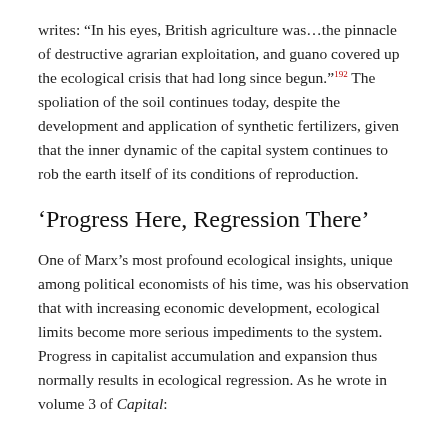writes: “In his eyes, British agriculture was…the pinnacle of destructive agrarian exploitation, and guano covered up the ecological crisis that had long since begun.”¹⁹² The spoliation of the soil continues today, despite the development and application of synthetic fertilizers, given that the inner dynamic of the capital system continues to rob the earth itself of its conditions of reproduction.
‘Progress Here, Regression There’
One of Marx’s most profound ecological insights, unique among political economists of his time, was his observation that with increasing economic development, ecological limits become more serious impediments to the system. Progress in capitalist accumulation and expansion thus normally results in ecological regression. As he wrote in volume 3 of Capital: